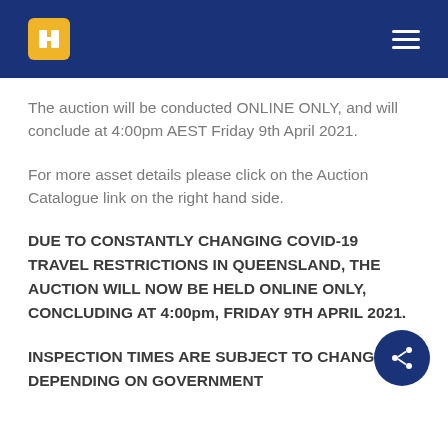Header with logo and navigation menu
The auction will be conducted ONLINE ONLY, and will conclude at 4:00pm AEST Friday 9th April 2021.
For more asset details please click on the Auction Catalogue link on the right hand side.
DUE TO CONSTANTLY CHANGING COVID-19 TRAVEL RESTRICTIONS IN QUEENSLAND, THE AUCTION WILL NOW BE HELD ONLINE ONLY, CONCLUDING AT 4:00pm, FRIDAY 9TH APRIL 2021.
INSPECTION TIMES ARE SUBJECT TO CHANGE DEPENDING ON GOVERNMENT